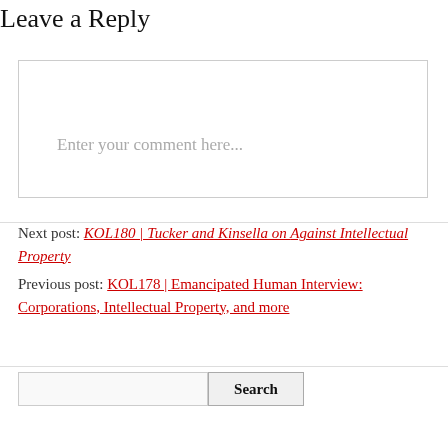Leave a Reply
Enter your comment here...
Next post: KOL180 | Tucker and Kinsella on Against Intellectual Property
Previous post: KOL178 | Emancipated Human Interview: Corporations, Intellectual Property, and more
Search